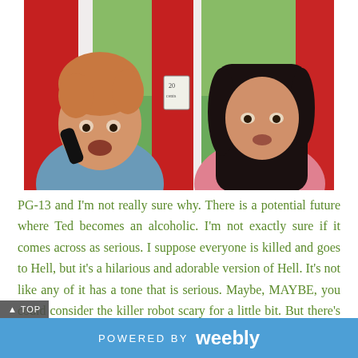[Figure (photo): Two actors peering through the slats of a red phone booth. The man on the left has curly reddish-blond hair and is holding a black telephone handset. The man on the right has long dark hair and is wearing a pink patterned shirt. They appear to be from the movie Bill & Ted Face the Music.]
PG-13 and I'm not really sure why.  There is a potential future where Ted becomes an alcoholic.  I'm not exactly sure if it comes across as serious.  I suppose everyone is killed and goes to Hell, but it's a hilarious and adorable version of Hell.  It's not like any of it has a tone that is serious.  Maybe, MAYBE, you could consider the killer robot scary for a little bit.  But there's very little here that is really and truly objectionable.  It kind of feels PG-13 because it's live-action.  PG-13.
POWERED BY weebly